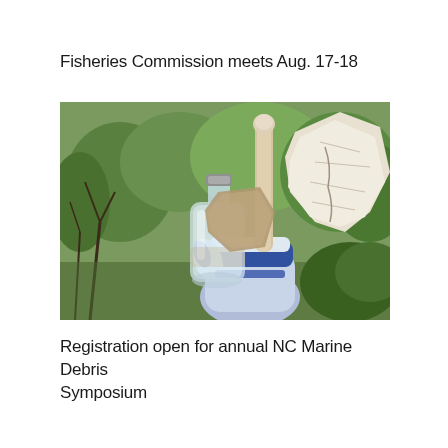Fisheries Commission meets Aug. 17-18
[Figure (photo): A gloved hand (blue and white work glove) holding marine debris including a clear plastic bottle and a piece of weathered styrofoam/wood, photographed outdoors with green trees and shrubs in the background.]
Registration open for annual NC Marine Debris Symposium